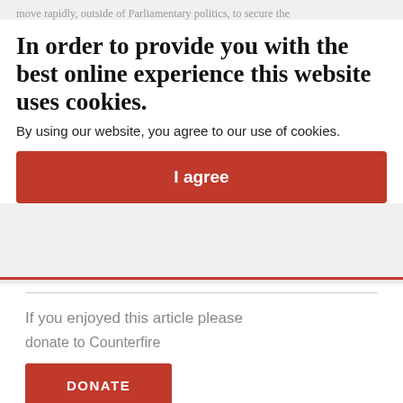move rapidly, outside of Parliamentary politics, to secure the change, however, that if the left is focused and clear about the situation it can shape and direct forces for meaningful social
In order to provide you with the best online experience this website uses cookies.
By using our website, you agree to our use of cookies.
I agree
If you enjoyed this article please
donate to Counterfire
DONATE
RELATED ARTICLES
Revolutionising reformism